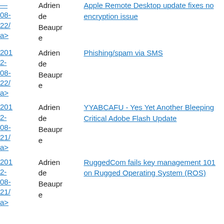2012-08-22/ a> | Adrien de Beaupre | Apple Remote Desktop update fixes no encryption issue
2012-08-22/ a> | Adrien de Beaupre | Phishing/spam via SMS
2012-08-21/ a> | Adrien de Beaupre | YYABCAFU - Yes Yet Another Bleeping Critical Adobe Flash Update
2012-08-21/ a> | Adrien de Beaupre | RuggedCom fails key management 101 on Rugged Operating System (ROS)